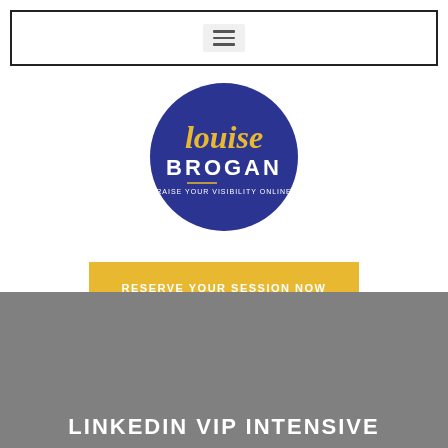[Figure (screenshot): Navigation bar with hamburger menu icon, three horizontal lines on light gray background]
[Figure (logo): Louise Brogan circular logo with dark navy blue background. Script text 'louise' in gold/yellow and 'BROGAN' in bold white uppercase. Tagline 'RAISE YOUR VISIBILITY ONLINE' in small text at bottom.]
RESERVE YOUR SESSION NOW
LINKEDIN VIP INTENSIVE